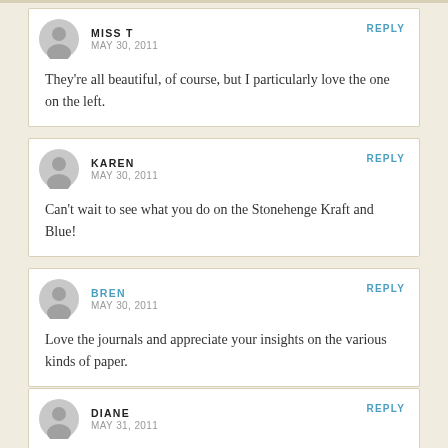MISS T
MAY 30, 2011
REPLY
They're all beautiful, of course, but I particularly love the one on the left.
KAREN
MAY 30, 2011
REPLY
Can't wait to see what you do on the Stonehenge Kraft and Blue!
BREN
MAY 30, 2011
REPLY
Love the journals and appreciate your insights on the various kinds of paper.
DIANE
MAY 31, 2011
REPLY
Major bummer about the cracking of the kraft-colored paper. These are beautiful books – I am eager to see the